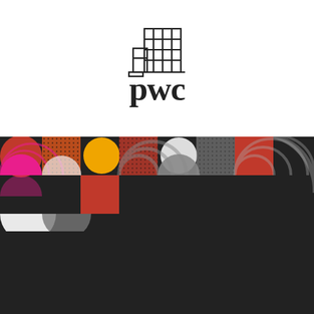[Figure (logo): PwC logo: geometric building/grid icon above the lowercase 'pwc' wordmark in bold serif font]
[Figure (illustration): Dark charcoal background with decorative geometric pattern of circles, semicircles, and squares in orange, red, yellow, pink, white, and grey, arranged in a grid mosaic pattern]
Deep dive in Cyprus Transfer Pricing Local File documentation requirements